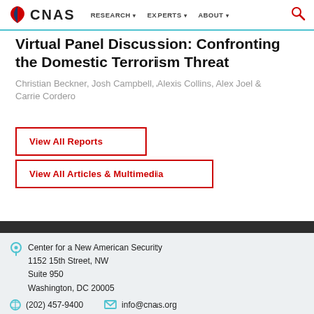CNAS | RESEARCH | EXPERTS | ABOUT
Virtual Panel Discussion: Confronting the Domestic Terrorism Threat
Christian Beckner, Josh Campbell, Alexis Collins, Alex Joel & Carrie Cordero
View All Reports
View All Articles & Multimedia
Center for a New American Security
1152 15th Street, NW
Suite 950
Washington, DC 20005
(202) 457-9400
info@cnas.org